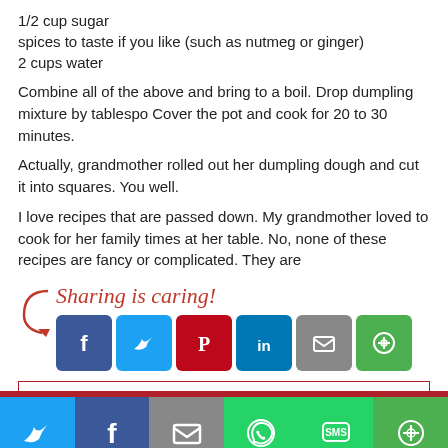1/2 cup sugar
spices to taste if you like (such as nutmeg or ginger)
2 cups water
Combine all of the above and bring to a boil. Drop dumpling mixture by tablespo... Cover the pot and cook for 20 to 30 minutes.
Actually, grandmother rolled out her dumpling dough and cut it into squares. You... well.
I love recipes that are passed down. My grandmother loved to cook for her family... times at her table. No, none of these recipes are fancy or complicated. They are ...
[Figure (infographic): Sharing is caring! social sharing buttons: Facebook, Twitter, Pinterest, LinkedIn, Email, More]
Posted in Southern Family, Southern Food | 11 Comments
« Previous Entries
[Figure (infographic): Bottom share bar: Twitter, Facebook, Email, WhatsApp, SMS, More]